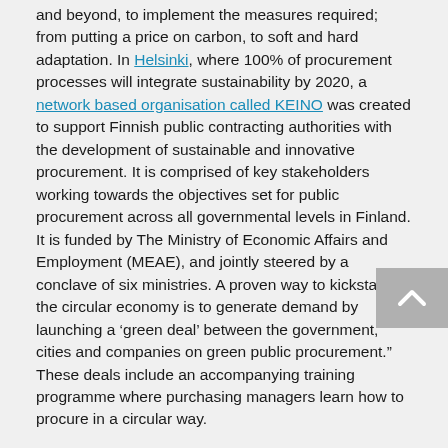and beyond, to implement the measures required; from putting a price on carbon, to soft and hard adaptation. In Helsinki, where 100% of procurement processes will integrate sustainability by 2020, a network based organisation called KEINO was created to support Finnish public contracting authorities with the development of sustainable and innovative procurement. It is comprised of key stakeholders working towards the objectives set for public procurement across all governmental levels in Finland. It is funded by The Ministry of Economic Affairs and Employment (MEAE), and jointly steered by a conclave of six ministries. A proven way to kickstart the circular economy is to generate demand by launching a ‘green deal’ between the government, cities and companies on green public procurement.” These deals include an accompanying training programme where purchasing managers learn how to procure in a circular way.
Going forward
As Christian Aid’s global climate advisor, Dr Kat Kramer